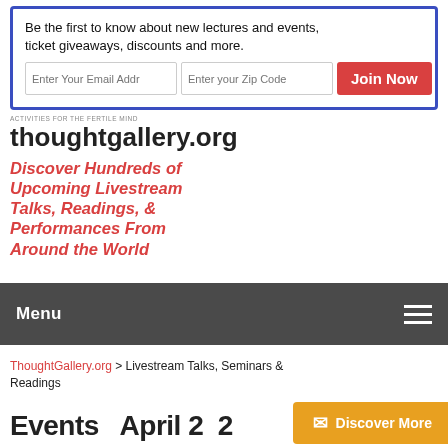[Figure (infographic): Email signup box with blue border. Text: 'Be the first to know about new lectures and events, ticket giveaways, discounts and more.' Input fields: 'Enter Your Email Address' and 'Enter your Zip Code'. Red 'Join Now' button.]
[Figure (logo): thoughtgallery.org logo with tagline 'ACTIVITIES FOR THE FERTILE MIND']
Discover Hundreds of Upcoming Livestream Talks, Readings, & Performances From Around the World
Menu
ThoughtGallery.org > Livestream Talks, Seminars & Readings
Events  April 2  2...